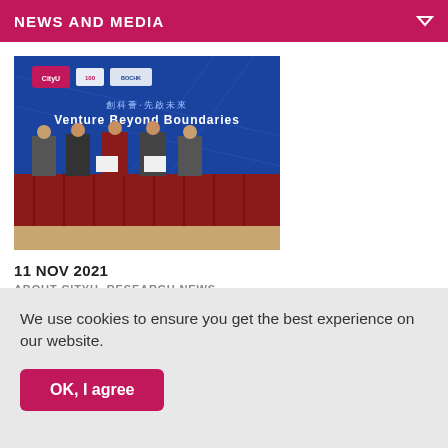NEWS AND MEDIA
[Figure (photo): Five people standing behind a red-draped table at a formal signing ceremony. A blue banner in the background reads 'Venture Beyond Boundaries' with CityU and other logos. Two people in the center hold up signed documents.]
11 NOV 2021
ABOUT CITYU, RESEARCH NEWS
We use cookies to ensure you get the best experience on our website.
OK, I agree